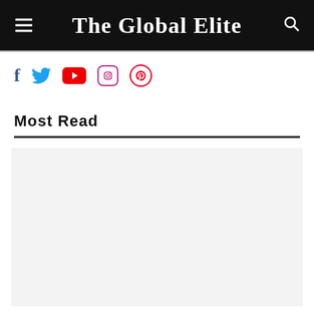The Global Elite
[Figure (infographic): Social media icons row: Facebook (f), Twitter (bird), YouTube (play button), Instagram (camera), Pinterest (p)]
Most Read
[Figure (photo): Large light gray placeholder image block below Most Read section]